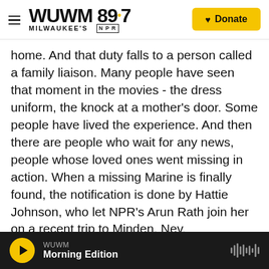WUWM 89.7 Milwaukee's NPR | Donate
home. And that duty falls to a person called a family liaison. Many people have seen that moment in the movies - the dress uniform, the knock at a mother's door. Some people have lived the experience. And then there are people who wait for any news, people whose loved ones went missing in action. When a missing Marine is finally found, the notification is done by Hattie Johnson, who let NPR's Arun Rath join her on a recent trip to Minden, Nev.
ARUN RATH, BYLINE: The initial phone call is always difficult. Sometimes when Hattie Johnson
WUWM | Morning Edition